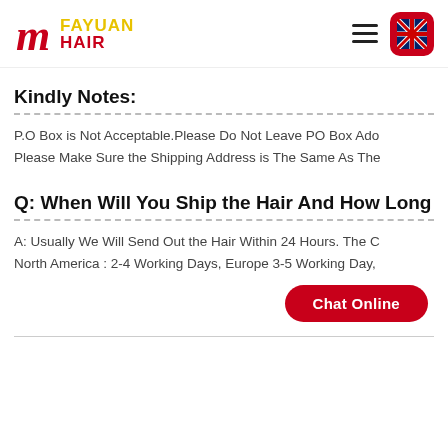Fayuan Hair — website header with logo, hamburger menu, and UK flag language selector
Kindly Notes:
P.O Box is Not Acceptable. Please Do Not Leave PO Box Address. Please Make Sure the Shipping Address is The Same As The…
Q: When Will You Ship the Hair And How Long…
A: Usually We Will Send Out the Hair Within 24 Hours. The C… North America : 2-4 Working Days, Europe 3-5 Working Day,…